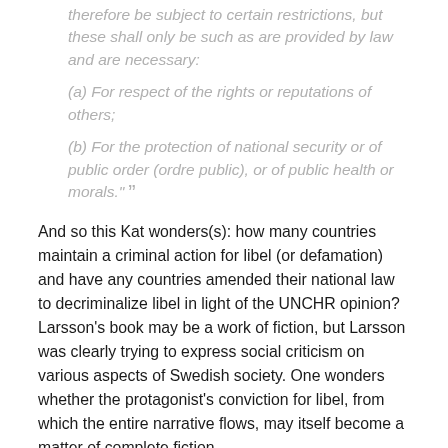therefore be subject to certain restrictions, but these shall only be such as are provided by law and are necessary:
(a) For respect of the rights or reputations of others;
(b) For the protection of national security or of public order (ordre public), or of public health or morals."
And so this Kat wonders(s): how many countries maintain a criminal action for libel (or defamation) and have any countries amended their national law to decriminalize libel in light of the UNCHR opinion? Larsson's book may be a work of fiction, but Larsson was clearly trying to express social criticism on various aspects of Swedish society. One wonders whether the protagonist's conviction for libel, from which the entire narrative flows, may itself become a matter of complete fiction.